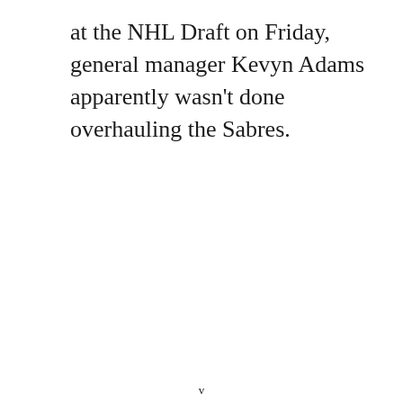at the NHL Draft on Friday, general manager Kevyn Adams apparently wasn't done overhauling the Sabres.
v